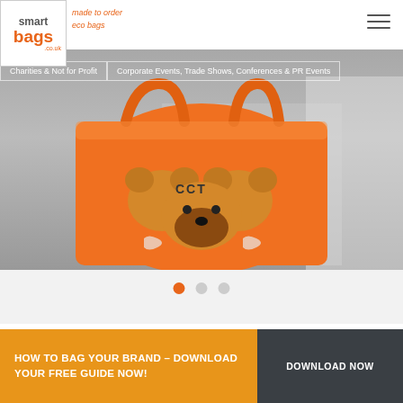[Figure (logo): Smart Bags co.uk logo with tagline 'made to order eco bags']
[Figure (screenshot): Navigation with hamburger menu icon on the right]
Charities & Not for Profit | Corporate Events, Trade Shows, Conferences & PR Events
[Figure (photo): Hero image showing an orange eco bag with a cartoon dog/panda design and CCT text on it]
[Figure (other): Slideshow pagination dots - first dot orange/active, second and third dots gray/inactive]
HOW TO BAG YOUR BRAND - DOWNLOAD YOUR FREE GUIDE NOW!
DOWNLOAD NOW